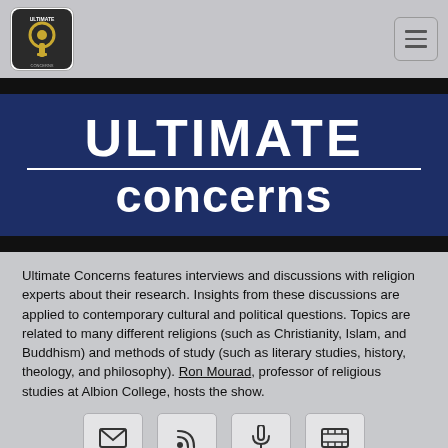[Figure (logo): Ultimate Concerns podcast logo — circular keyhole emblem on a square tile with rounded corners]
ULTIMATE concerns
Ultimate Concerns features interviews and discussions with religion experts about their research. Insights from these discussions are applied to contemporary cultural and political questions. Topics are related to many different religions (such as Christianity, Islam, and Buddhism) and methods of study (such as literary studies, history, theology, and philosophy). Ron Mourad, professor of religious studies at Albion College, hosts the show.
[Figure (infographic): Four icon buttons: envelope (email), RSS feed, podcast, and film/video icons]